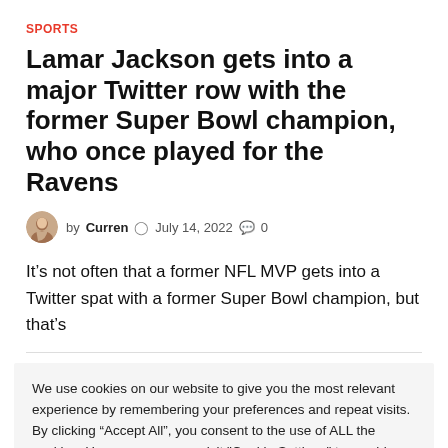SPORTS
Lamar Jackson gets into a major Twitter row with the former Super Bowl champion, who once played for the Ravens
by Curren  July 14, 2022  0
It’s not often that a former NFL MVP gets into a Twitter spat with a former Super Bowl champion, but that’s
We use cookies on our website to give you the most relevant experience by remembering your preferences and repeat visits. By clicking “Accept All”, you consent to the use of ALL the cookies. However, you may visit "Cookie Settings" to provide a controlled consent.